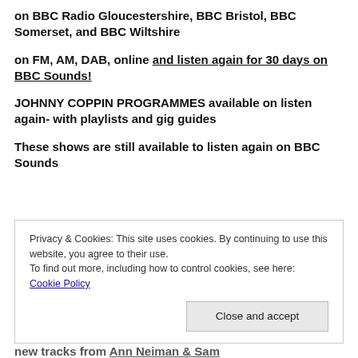on BBC Radio Gloucestershire, BBC Bristol, BBC Somerset, and BBC Wiltshire
on FM, AM, DAB, online and listen again for 30 days on BBC Sounds!
JOHNNY COPPIN PROGRAMMES available on listen again- with playlists and gig guides
These shows are still available to listen again on BBC Sounds
Privacy & Cookies: This site uses cookies. By continuing to use this website, you agree to their use.
To find out more, including how to control cookies, see here: Cookie Policy
Close and accept
new tracks from Ann Neiman & Sam